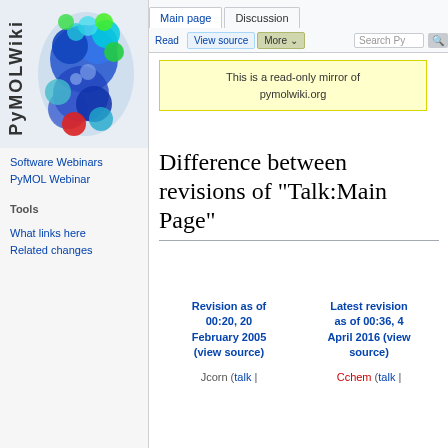[Figure (illustration): PyMOLWiki logo with 3D molecular structure (space-filling model) in blue, cyan, green, and red, with vertical text 'PyMOLWiki' on the left side]
Log in
Main page | Discussion
Read | View source | More | Search PyMOLWiki
This is a read-only mirror of pymolwiki.org
Main page
Recent changes
Random page
Help
SBGrid Resources
SBGrid Consortium
SBGrid Data Bank
Software Webinars
PyMOL Webinar
Tools
What links here
Related changes
Difference between revisions of "Talk:Main Page"
| Revision as of 00:20, 20 February 2005 (view source) | Latest revision as of 00:36, 4 April 2016 (view source) |
| --- | --- |
| Jcorn (talk | | Cchem (talk | |